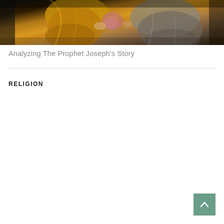[Figure (photo): Partial view of a classical painting showing figures in golden/ochre and grey robes, dark background — likely a religious or historical scene related to the Prophet Joseph]
Analyzing The Prophet Joseph's Story
RELIGION